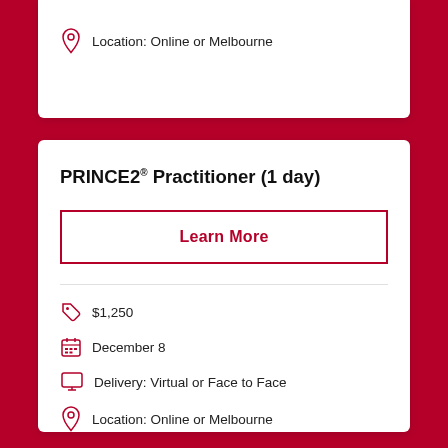Location: Online or Melbourne
PRINCE2® Practitioner (1 day)
Learn More
$1,250
December 8
Delivery: Virtual or Face to Face
Location: Online or Melbourne